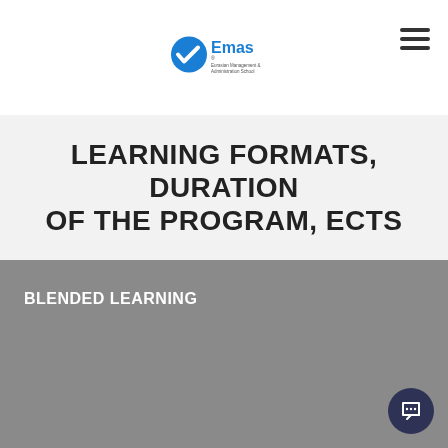[Figure (logo): Emas logo — blue circle with white diagonal shape and text 'Emas', subtitle 'Eurasian Management & Administration School']
LEARNING FORMATS, DURATION OF THE PROGRAM, ECTS
BLENDED LEARNING